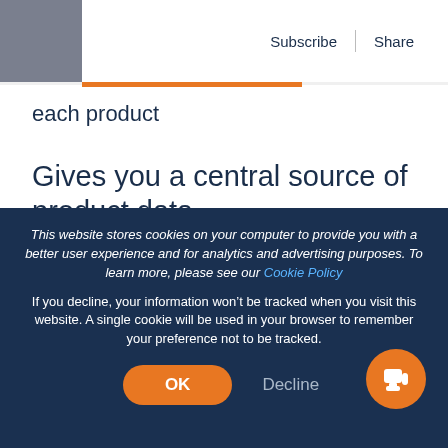Subscribe | Share
each product
Gives you a central source of product data
If you’ve got a large product range spread across multiple channels, you may be pulling data from
This website stores cookies on your computer to provide you with a better user experience and for analytics and advertising purposes. To learn more, please see our Cookie Policy
If you decline, your information won’t be tracked when you visit this website. A single cookie will be used in your browser to remember your preference not to be tracked.